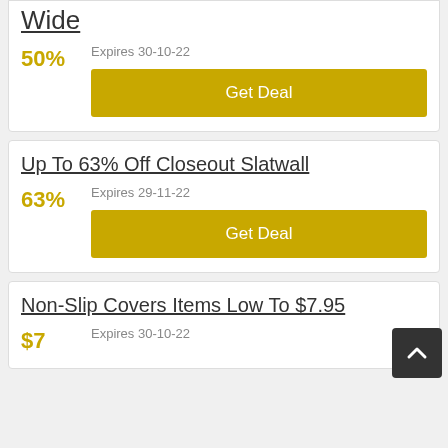Wide
50%
Expires 30-10-22
Get Deal
Up To 63% Off Closeout Slatwall
63%
Expires 29-11-22
Get Deal
Non-Slip Covers Items Low To $7.95
$7
Expires 30-10-22